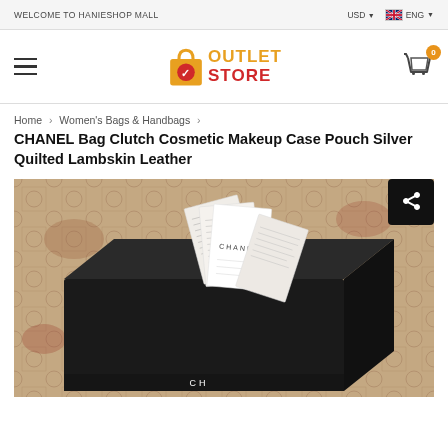WELCOME TO HANIESHOP MALL | USD | ENG
[Figure (logo): Outlet Store logo with shopping bag icon, orange OUTLET and red STORE text]
Home > Women's Bags & Handbags
CHANEL Bag Clutch Cosmetic Makeup Case Pouch Silver Quilted Lambskin Leather
[Figure (photo): Black CHANEL box with white Chanel booklets/cards fanned out on top, sitting on a patterned carpet background. CHANEL text visible on box bottom.]